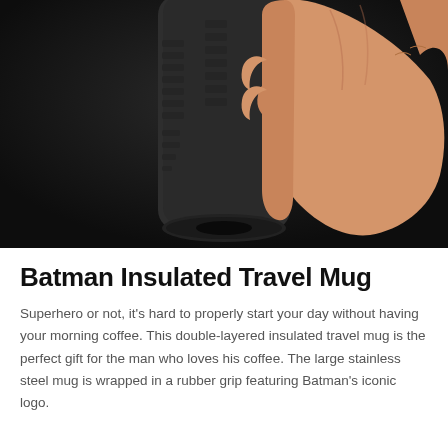[Figure (photo): A hand gripping a dark matte black Batman insulated travel mug against a dark background. The mug has rubber grip texture with raised ridges and the bottom opening is visible.]
Batman Insulated Travel Mug
Superhero or not, it's hard to properly start your day without having your morning coffee. This double-layered insulated travel mug is the perfect gift for the man who loves his coffee. The large stainless steel mug is wrapped in a rubber grip featuring Batman's iconic logo.